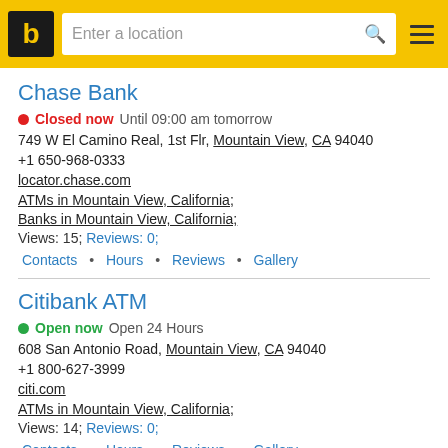b | Enter a location [search] [menu]
Chase Bank
Closed now  Until 09:00 am tomorrow
749 W El Camino Real, 1st Flr, Mountain View, CA 94040
+1 650-968-0333
locator.chase.com
ATMs in Mountain View, California;
Banks in Mountain View, California;
Views: 15; Reviews: 0;
Contacts • Hours • Reviews • Gallery
Citibank ATM
Open now  Open 24 Hours
608 San Antonio Road, Mountain View, CA 94040
+1 800-627-3999
citi.com
ATMs in Mountain View, California;
Views: 14; Reviews: 0;
Contacts • Hours • Reviews • Gallery